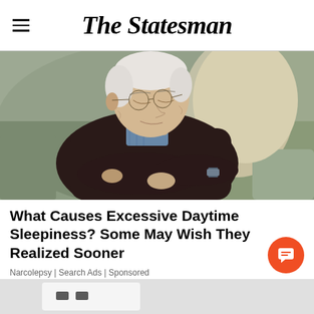The Statesman
[Figure (photo): Elderly man with glasses sleeping in an armchair, arms crossed, wearing a dark sweater over a plaid shirt]
What Causes Excessive Daytime Sleepiness? Some May Wish They Realized Sooner
Narcolepsy | Search Ads | Sponsored
[Figure (photo): Partial view of a white electronic device on a light background, bottom of page]